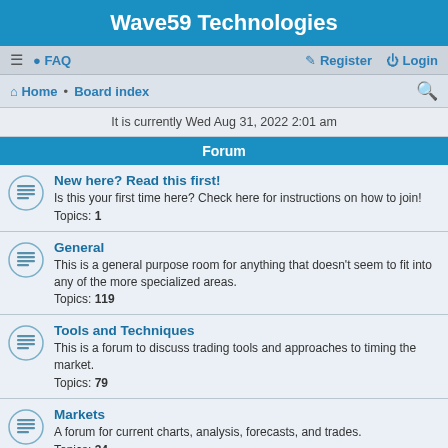Wave59 Technologies
≡  FAQ    Register  Login
Home · Board index
It is currently Wed Aug 31, 2022 2:01 am
Forum
New here? Read this first! — Is this your first time here? Check here for instructions on how to join! Topics: 1
General — This is a general purpose room for anything that doesn't seem to fit into any of the more specialized areas. Topics: 119
Tools and Techniques — This is a forum to discuss trading tools and approaches to timing the market. Topics: 79
Markets — A forum for current charts, analysis, forecasts, and trades. Topics: 34
Software — Post any software related questions or comments here. This is also the place to ask for help if you can't figure out how to do something in Wave59. Topics: 114
Mechanical Systems — Post anything related to mechanical systems and automated trading here. Topics: 14